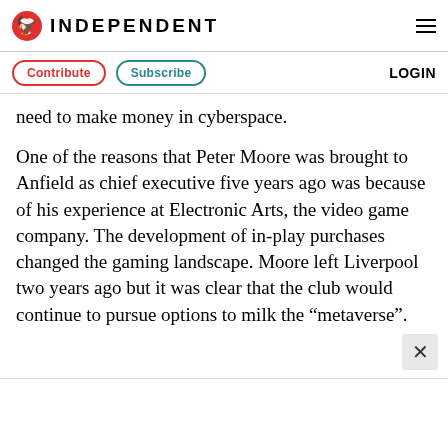INDEPENDENT
Contribute | Subscribe | LOGIN
need to make money in cyberspace.
One of the reasons that Peter Moore was brought to Anfield as chief executive five years ago was because of his experience at Electronic Arts, the video game company. The development of in-play purchases changed the gaming landscape. Moore left Liverpool two years ago but it was clear that the club would continue to pursue options to milk the “metaverse”.